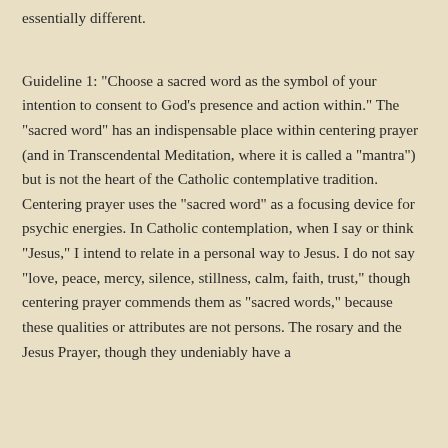essentially different.
Guideline 1: "Choose a sacred word as the symbol of your intention to consent to God's presence and action within." The "sacred word" has an indispensable place within centering prayer (and in Transcendental Meditation, where it is called a "mantra") but is not the heart of the Catholic contemplative tradition. Centering prayer uses the "sacred word" as a focusing device for psychic energies. In Catholic contemplation, when I say or think "Jesus," I intend to relate in a personal way to Jesus. I do not say "love, peace, mercy, silence, stillness, calm, faith, trust," though centering prayer commends them as "sacred words," because these qualities or attributes are not persons. The rosary and the Jesus Prayer, though they undeniably have a